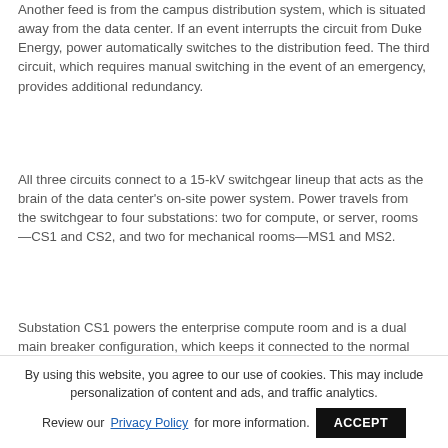Another feed is from the campus distribution system, which is situated away from the data center. If an event interrupts the circuit from Duke Energy, power automatically switches to the distribution feed. The third circuit, which requires manual switching in the event of an emergency, provides additional redundancy.
All three circuits connect to a 15-kV switchgear lineup that acts as the brain of the data center's on-site power system. Power travels from the switchgear to four substations: two for compute, or server, rooms—CS1 and CS2, and two for mechanical rooms—MS1 and MS2.
Substation CS1 powers the enterprise compute room and is a dual main breaker configuration, which keeps it connected to the normal utility
By using this website, you agree to our use of cookies. This may include personalization of content and ads, and traffic analytics. Review our Privacy Policy for more information.